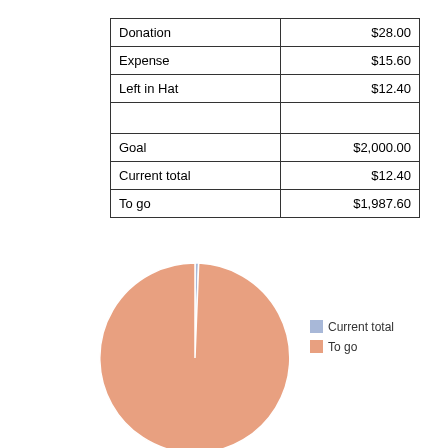|  |  |
| --- | --- |
| Donation | $28.00 |
| Expense | $15.60 |
| Left in Hat | $12.40 |
|  |  |
| Goal | $2,000.00 |
| Current total | $12.40 |
| To go | $1,987.60 |
[Figure (pie-chart): ]